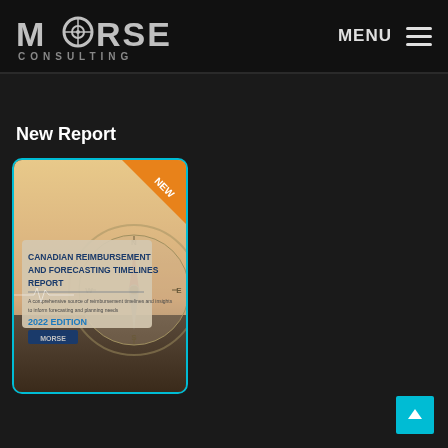MORSE CONSULTING — MENU
New Report
[Figure (illustration): Book cover of 'Canadian Reimbursement and Forecasting Timelines Report – 2022 Edition' by Morse Consulting, with a compass background image and an orange 'NEW' badge in the top-right corner.]